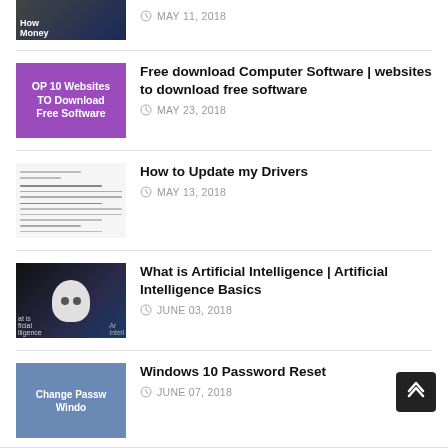[Figure (screenshot): Partial thumbnail of a 'How Money' article image at top]
MAY 11, 2018
[Figure (illustration): Purple thumbnail with text: OP 10 Websites TO Download Free Software]
Free download Computer Software | websites to download free software
MAY 23, 2018
[Figure (screenshot): Document/article thumbnail showing text content]
How to Update my Drivers
MAY 13, 2018
[Figure (photo): Robot head on dark background with 'What is Artificial Intelligence' text]
What is Artificial Intelligence | Artificial Intelligence Basics
JUNE 03, 2018
[Figure (screenshot): Blue thumbnail with text: Change Password Windows]
Windows 10 Password Reset
JUNE 07, 2018